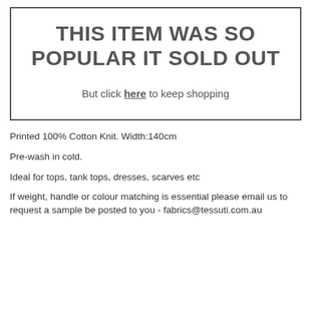THIS ITEM WAS SO POPULAR IT SOLD OUT
But click here to keep shopping
Printed 100% Cotton Knit. Width:140cm
Pre-wash in cold.
Ideal for tops, tank tops, dresses, scarves etc
If weight, handle or colour matching is essential please email us to request a sample be posted to you - fabrics@tessuti.com.au